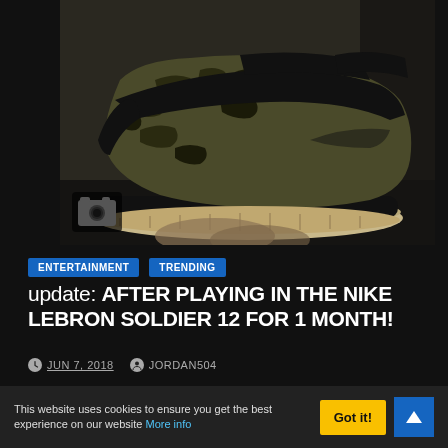[Figure (photo): Close-up photo of a Nike LeBron Soldier 12 sneaker in camo/black colorway being held by a hand. A camera icon overlay appears in the bottom-left of the photo.]
ENTERTAINMENT   TRENDING
update: AFTER PLAYING IN THE NIKE LEBRON SOLDIER 12 FOR 1 MONTH!
JUN 7, 2018   JORDAN504
YOU CAN BUY THESE HERE! ► BIG THANKS TO UNCLE
This website uses cookies to ensure you get the best experience on our website More info